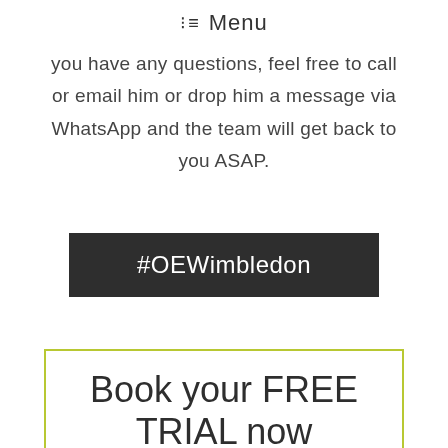☰ Menu
you have any questions, feel free to call or email him or drop him a message via WhatsApp and the team will get back to you ASAP.
#OEWimbledon
Book your FREE TRIAL now